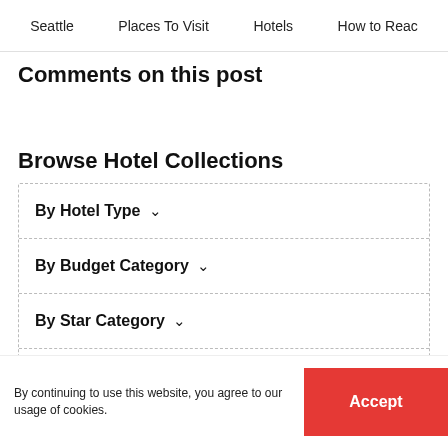Seattle   Places To Visit   Hotels   How to Reac
Comments on this post
Browse Hotel Collections
By Hotel Type ∨
By Budget Category ∨
By Star Category ∨
By continuing to use this website, you agree to our usage of cookies.